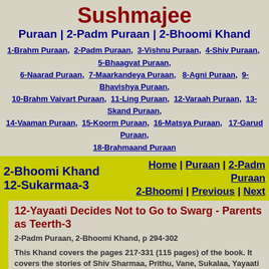Sushmajee
Puraan | 2-Padm Puraan | 2-Bhoomi Khand
1-Brahm Puraan, 2-Padm Puraan, 3-Vishnu Puraan, 4-Shiv Puraan, 5-Bhaagvat Puraan, 6-Naarad Puraan, 7-Maarkandeya Puraan, 8-Agni Puraan, 9-Bhavishya Puraan, 10-Brahm Vaivart Puraan, 11-Ling Puraan, 12-Varaah Puraan, 13-Skand Puraan, 14-Vaaman Puraan, 15-Koorm Puraan, 16-Matsya Puraan, 17-Garud Puraan, 18-Brahmaand Puraan
2-Bhoomi Khand | Home | Puraan | 2-Padm Puraan
12-Sukarmaa-3 | 2-Bhoomi | Previous | Next
12-Yayaati Decides Not to Go to Swarg - Parents as Teerth-3
2-Padm Puraan, 2-Bhoomi Khand, p 294-302
This Khand covers the pages 217-331 (115 pages) of the book. It covers the stories of Shiv Sharmaa, Prithu, Vane, Sukalaa, Yayaati and Kunjal bird.